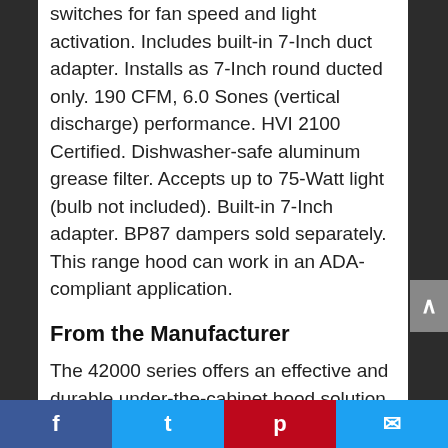switches for fan speed and light activation. Includes built-in 7-Inch duct adapter. Installs as 7-Inch round ducted only. 190 CFM, 6.0 Sones (vertical discharge) performance. HVI 2100 Certified. Dishwasher-safe aluminum grease filter. Accepts up to 75-Watt light (bulb not included). Built-in 7-Inch adapter. BP87 dampers sold separately. This range hood can work in an ADA-compliant application.
From the Manufacturer
The 42000 series offers an effective and durable under-the-cabinet hood solution for residential direct installation. The